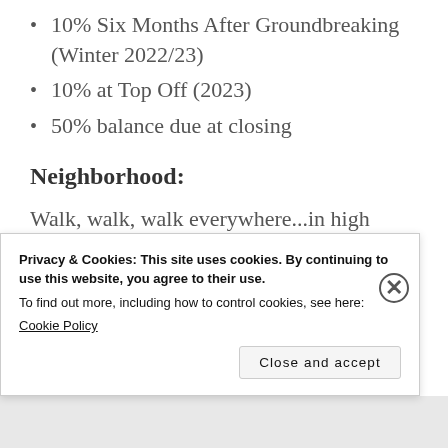10% Six Months After Groundbreaking (Winter 2022/23)
10% at Top Off (2023)
50% balance due at closing
Neighborhood:
Walk, walk, walk everywhere...in high heels, trainers, or suits. Surrounded by residential buildings and bustling
Privacy & Cookies: This site uses cookies. By continuing to use this website, you agree to their use.
To find out more, including how to control cookies, see here: Cookie Policy
Close and accept